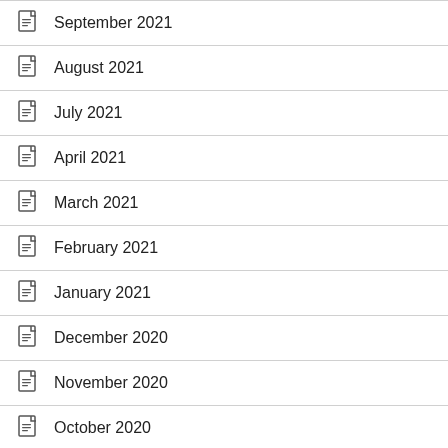September 2021
August 2021
July 2021
April 2021
March 2021
February 2021
January 2021
December 2020
November 2020
October 2020
September 2020